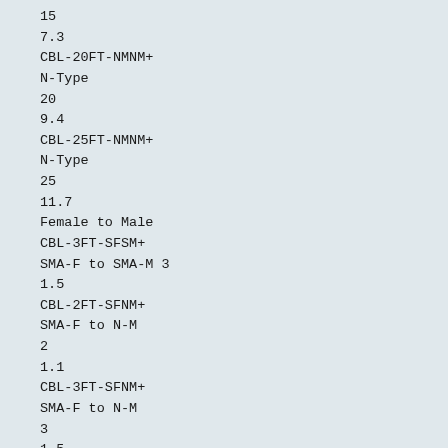15
7.3
CBL-20FT-NMNM+
N-Type
20
9.4
CBL-25FT-NMNM+
N-Type
25
11.7
Female to Male
CBL-3FT-SFSM+
SMA-F to SMA-M 3
1.5
CBL-2FT-SFNM+
SMA-F to N-M
2
1.1
CBL-3FT-SFNM+
SMA-F to N-M
3
1.5
CBL-6FT-SFNM+
SMA-F to N-M
6
3.0
Return Loss (dB)
Midband
Typ.
27
27
27
27